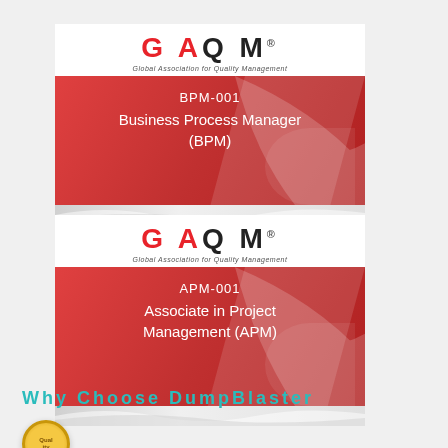[Figure (logo): GAQM certification card for BPM-001 Business Process Manager (BPM)]
[Figure (logo): GAQM certification card for APM-001 Associate in Project Management (APM)]
Why Choose DumpBlaster
[Figure (illustration): Quality badge/seal icon (gold circular badge with 'Quality' text)]